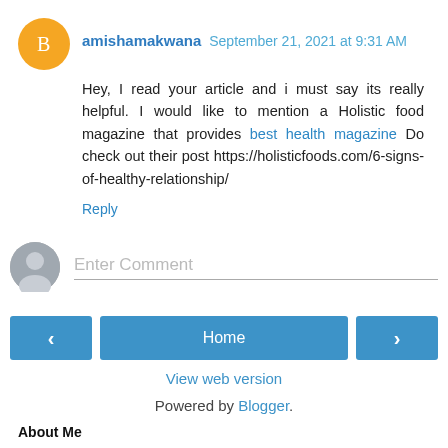amishamakwana  September 21, 2021 at 9:31 AM
Hey, I read your article and i must say its really helpful. I would like to mention a Holistic food magazine that provides best health magazine Do check out their post https://holisticfoods.com/6-signs-of-healthy-relationship/
Reply
Enter Comment
Home
View web version
Powered by Blogger.
About Me